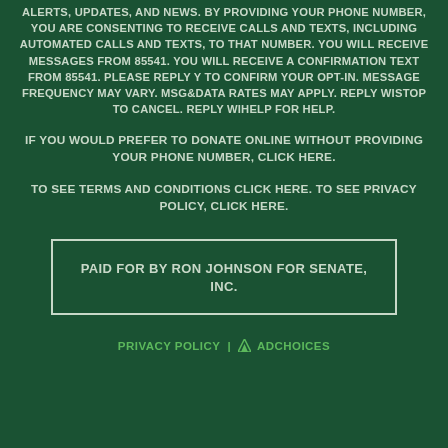ALERTS, UPDATES, AND NEWS. BY PROVIDING YOUR PHONE NUMBER, YOU ARE CONSENTING TO RECEIVE CALLS AND TEXTS, INCLUDING AUTOMATED CALLS AND TEXTS, TO THAT NUMBER. YOU WILL RECEIVE MESSAGES FROM 85541. YOU WILL RECEIVE A CONFIRMATION TEXT FROM 85541. PLEASE REPLY Y TO CONFIRM YOUR OPT-IN. MESSAGE FREQUENCY MAY VARY. MSG&DATA RATES MAY APPLY. REPLY WISTOP TO CANCEL. REPLY WIHELP FOR HELP.
IF YOU WOULD PREFER TO DONATE ONLINE WITHOUT PROVIDING YOUR PHONE NUMBER, CLICK HERE.
TO SEE TERMS AND CONDITIONS CLICK HERE. TO SEE PRIVACY POLICY, CLICK HERE.
PAID FOR BY RON JOHNSON FOR SENATE, INC.
PRIVACY POLICY | ADCHOICES